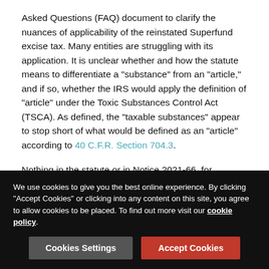Asked Questions (FAQ) document to clarify the nuances of applicability of the reinstated Superfund excise tax. Many entities are struggling with its application. It is unclear whether and how the statute means to differentiate a "substance" from an "article," and if so, whether the IRS would apply the definition of "article" under the Toxic Substances Control Act (TSCA). As defined, the "taxable substances" appear to stop short of what would be defined as an "article" according to 40 C.F.R. Section 704.3.
Nothing in the statute or in Notice 2021-66, for example, references manufactured items in the context of taxable substances. Inferences, however, can be made from the absence of any mention in the law. Notice 89-61 provided guidance under the previously applicable Superfund excise tax. It states that it was Congress' intent that taxable substances...
We use cookies to give you the best online experience. By clicking "Accept Cookies" or clicking into any content on this site, you agree to allow cookies to be placed. To find out more visit our cookie policy.